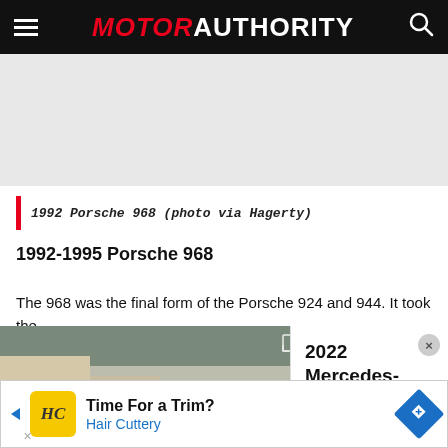MOTOR AUTHORITY
[Figure (other): Gray advertisement placeholder space]
1992 Porsche 968 (photo via Hagerty)
1992-1995 Porsche 968
The 968 was the final form of the Porsche 924 and 944. It took the
[Figure (screenshot): Video player showing a camouflaged car on a road with play button overlay]
2022 Mercedes-AMG SL63 Roadster spy video
[Figure (other): Advertisement banner: Time For a Trim? Hair Cuttery]